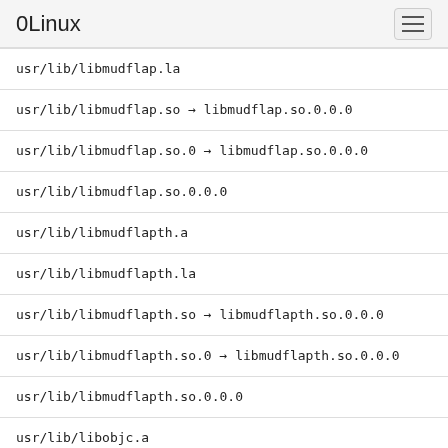0Linux
usr/lib/libmudflap.la
usr/lib/libmudflap.so → libmudflap.so.0.0.0
usr/lib/libmudflap.so.0 → libmudflap.so.0.0.0
usr/lib/libmudflap.so.0.0.0
usr/lib/libmudflapth.a
usr/lib/libmudflapth.la
usr/lib/libmudflapth.so → libmudflapth.so.0.0.0
usr/lib/libmudflapth.so.0 → libmudflapth.so.0.0.0
usr/lib/libmudflapth.so.0.0.0
usr/lib/libobjc.a